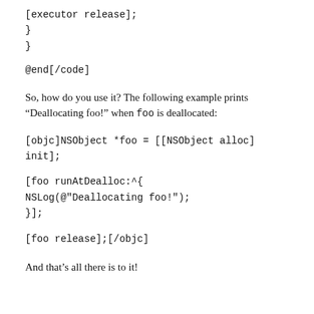[executor release];
}
}
@end[/code]
So, how do you use it? The following example prints “Deallocating foo!” when foo is deallocated:
[objc]NSObject *foo = [[NSObject alloc] init];
[foo runAtDealloc:^{
NSLog(@"Deallocating foo!");
}];
[foo release];[/objc]
And that’s all there is to it!